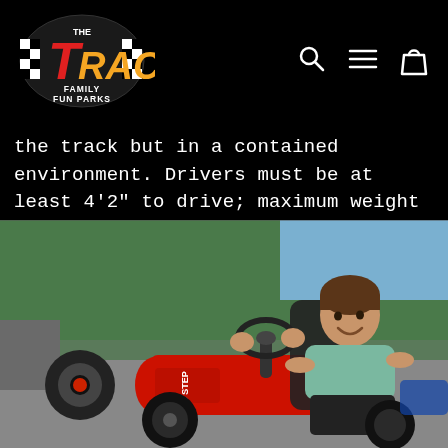[Figure (logo): The Track Family Fun Parks logo — checkered flag with bold stylized text on black background]
the track but in a contained environment. Drivers must be at least 4'2" to drive; maximum weight is 250 lbs.
[Figure (photo): Young boy smiling while driving a red go-kart on a track, wearing a teal shirt. The kart has 'NO STEP' written on a red body panel. Background shows track scenery.]